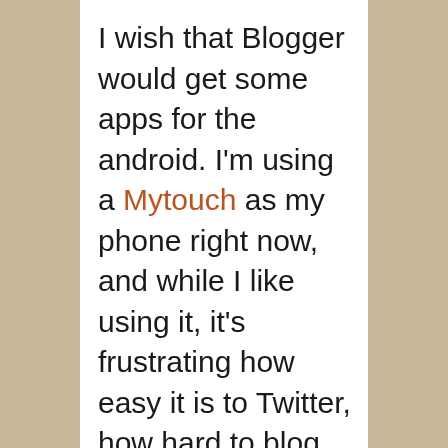I wish that Blogger would get some apps for the android. I'm using a Mytouch as my phone right now, and while I like using it, it's frustrating how easy it is to Twitter, how hard to blog from it. I had discussions with people at Blogger